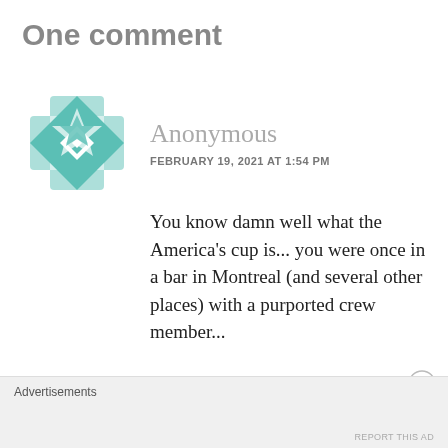One comment
[Figure (logo): Teal geometric quilt-pattern avatar icon for Anonymous commenter]
Anonymous
FEBRUARY 19, 2021 AT 1:54 PM
You know damn well what the America’s cup is... you were once in a bar in Montreal (and several other places) with a purported crew member...
Advertisements